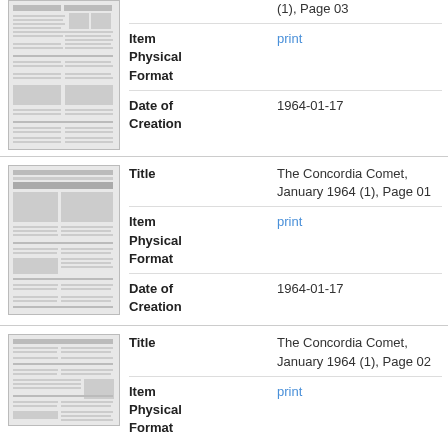[Figure (photo): Thumbnail of newspaper page - The Concordia Comet, January 1964 (1), Page 03]
(1), Page 03
Item Physical Format
print
Date of Creation
1964-01-17
[Figure (photo): Thumbnail of newspaper page - The Concordia Comet, January 1964 (1), Page 01]
Title
The Concordia Comet, January 1964 (1), Page 01
Item Physical Format
print
Date of Creation
1964-01-17
[Figure (photo): Thumbnail of newspaper page - The Concordia Comet, January 1964 (1), Page 02]
Title
The Concordia Comet, January 1964 (1), Page 02
Item Physical Format
print